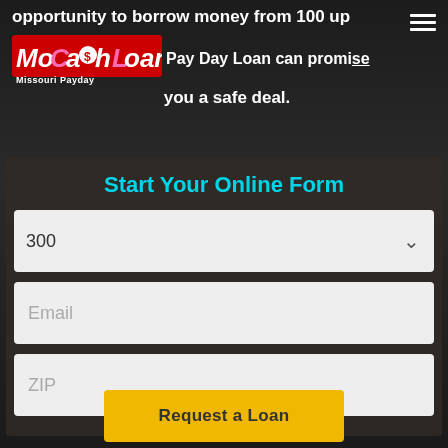[Figure (logo): MoCashLoan Missouri Payday logo in red, white and pink italic bold lettering]
opportunity to borrow money from 100 up to... Day Loan can promise you a safe deal.
Start Your Online Form
300 (dropdown field)
Email (placeholder)
ZIP (placeholder)
Request a Loan